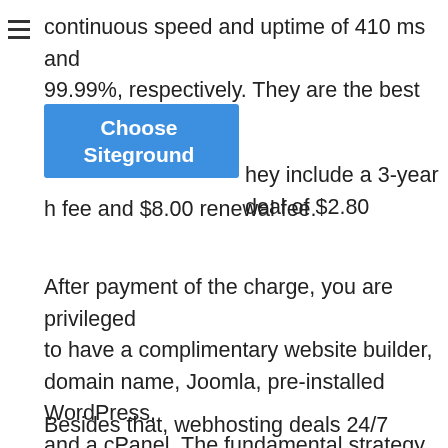continuous speed and uptime of 410 ms and 99.99%, respectively. They are the best for [Choose Siteground] hey include a 3-year deal of $2.80 month-to-month fee and $8.00 renewal fee.
After payment of the charge, you are privileged to have a complimentary website builder, domain name, Joomla, pre-installed WordPress, and a cPanel. The fundamental strategy contains a 50 GB SSD storage and unmetered bandwidth. BlueHost is advised by WordPress, making it appropriate for WordPress sites.
Besides that, webhosting deals 24/7 customers care services and complimentary email